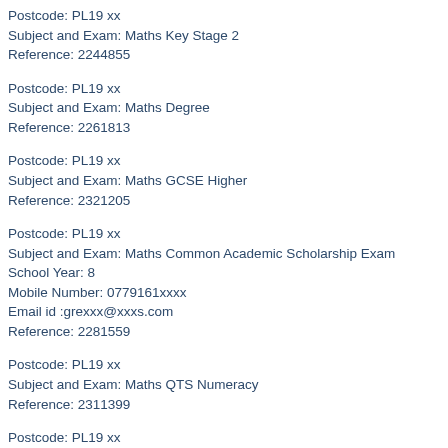Postcode: PL19 xx
Subject and Exam: Maths Key Stage 2
Reference: 2244855
Postcode: PL19 xx
Subject and Exam: Maths Degree
Reference: 2261813
Postcode: PL19 xx
Subject and Exam: Maths GCSE Higher
Reference: 2321205
Postcode: PL19 xx
Subject and Exam: Maths Common Academic Scholarship Exam
School Year: 8
Mobile Number: 0779161xxxx
Email id :grexxx@xxxs.com
Reference: 2281559
Postcode: PL19 xx
Subject and Exam: Maths QTS Numeracy
Reference: 2311399
Postcode: PL19 xx
Subject and Exam: Maths Key Stage 2